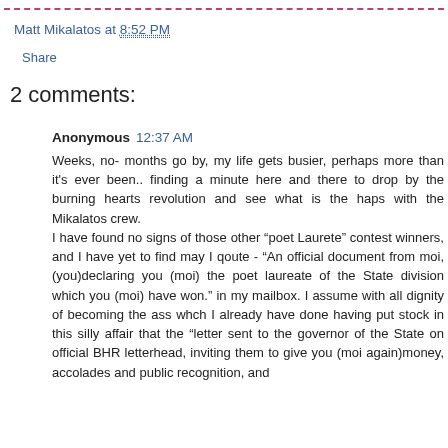Matt Mikalatos at 8:52 PM
Share
2 comments:
Anonymous 12:37 AM
Weeks, no- months go by, my life gets busier, perhaps more than it's ever been.. finding a minute here and there to drop by the burning hearts revolution and see what is the haps with the Mikalatos crew.
I have found no signs of those other "poet Laurete" contest winners, and I have yet to find may I qoute - "An official document from moi,(you)declaring you (moi) the poet laureate of the State division which you (moi) have won." in my mailbox. I assume with all dignity of becoming the ass whch I already have done having put stock in this silly affair that the "letter sent to the governor of the State on official BHR letterhead, inviting them to give you (moi again)money, accolades and public recognition, and